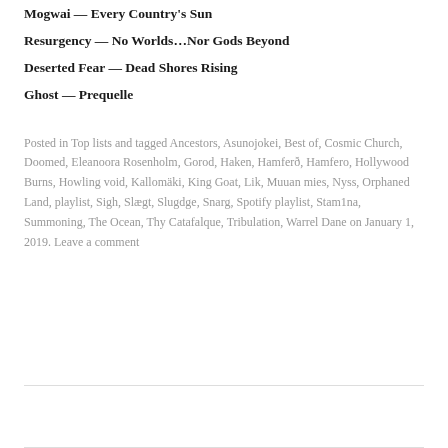Mogwai — Every Country's Sun
Resurgency — No Worlds…Nor Gods Beyond
Deserted Fear — Dead Shores Rising
Ghost — Prequelle
Posted in Top lists and tagged Ancestors, Asunojokei, Best of, Cosmic Church, Doomed, Eleanoora Rosenholm, Gorod, Haken, Hamferð, Hamfero, Hollywood Burns, Howling void, Kallomäki, King Goat, Lik, Muuan mies, Nyss, Orphaned Land, playlist, Sigh, Slægt, Slugdge, Snarg, Spotify playlist, Stam1na, Summoning, The Ocean, Thy Catafalque, Tribulation, Warrel Dane on January 1, 2019. Leave a comment